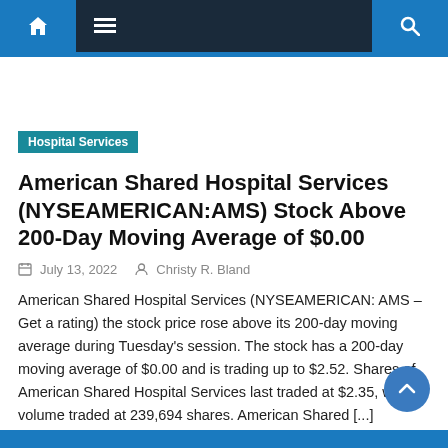Navigation bar with home, menu, and search icons
Hospital Services
American Shared Hospital Services (NYSEAMERICAN:AMS) Stock Above 200-Day Moving Average of $0.00
July 13, 2022   Christy R. Bland
American Shared Hospital Services (NYSEAMERICAN: AMS – Get a rating) the stock price rose above its 200-day moving average during Tuesday's session. The stock has a 200-day moving average of $0.00 and is trading up to $2.52. Shares of American Shared Hospital Services last traded at $2.35, with volume traded at 239,694 shares. American Shared [...]